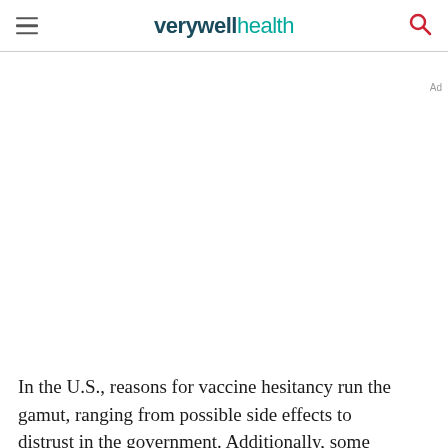verywell health
In the U.S., reasons for vaccine hesitancy run the gamut, ranging from possible side effects to distrust in the government. Additionally, some